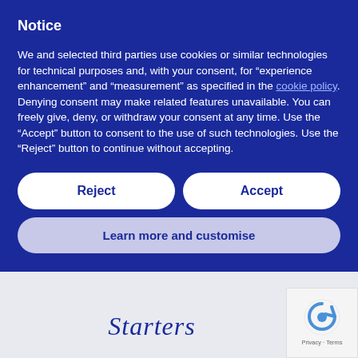Notice
We and selected third parties use cookies or similar technologies for technical purposes and, with your consent, for “experience enhancement” and “measurement” as specified in the cookie policy. Denying consent may make related features unavailable. You can freely give, deny, or withdraw your consent at any time. Use the “Accept” button to consent to the use of such technologies. Use the “Reject” button to continue without accepting.
Reject
Accept
Learn more and customise
Starters
[Figure (logo): reCAPTCHA badge with Privacy and Terms links]